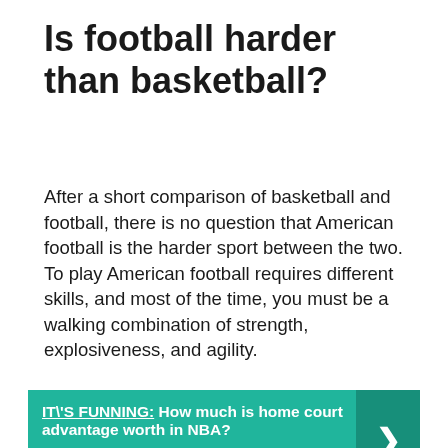Is football harder than basketball?
After a short comparison of basketball and football, there is no question that American football is the harder sport between the two. To play American football requires different skills, and most of the time, you must be a walking combination of strength, explosiveness, and agility.
IT\'S FUNNING:  How much is home court advantage worth in NBA?
Is basketball bigger than